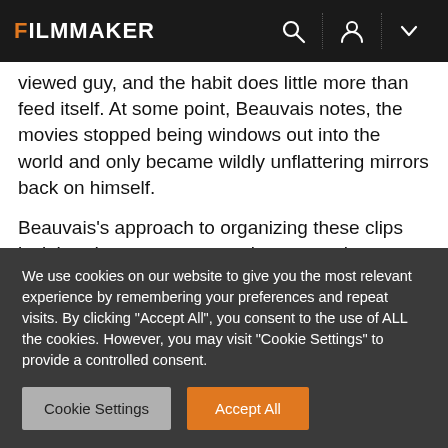FILMMAKER
viewed guy, and the habit does little more than feed itself. At some point, Beauvais notes, the movies stopped being windows out into the world and only became wildly unflattering mirrors back on himself.

Beauvais's approach to organizing these clips isn't heady montage; no serious mental energy is required to forge a metaphorical link between an obliquely apposite image and the narration it's accompanying. If anything, Beauvais
We use cookies on our website to give you the most relevant experience by remembering your preferences and repeat visits. By clicking "Accept All", you consent to the use of ALL the cookies. However, you may visit "Cookie Settings" to provide a controlled consent.